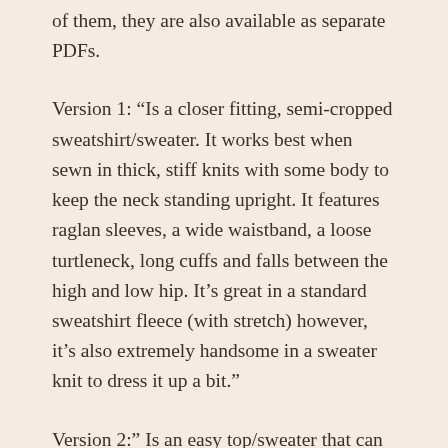of them, they are also available as separate PDFs.
Version 1: “Is a closer fitting, semi-cropped sweatshirt/sweater. It works best when sewn in thick, stiff knits with some body to keep the neck standing upright. It features raglan sleeves, a wide waistband, a loose turtleneck, long cuffs and falls between the high and low hip. It’s great in a standard sweatshirt fleece (with stretch) however, it’s also extremely handsome in a sweater knit to dress it up a bit.”
Version 2:” Is an easy top/sweater that can be dressed up or down. It is somewhat fitted